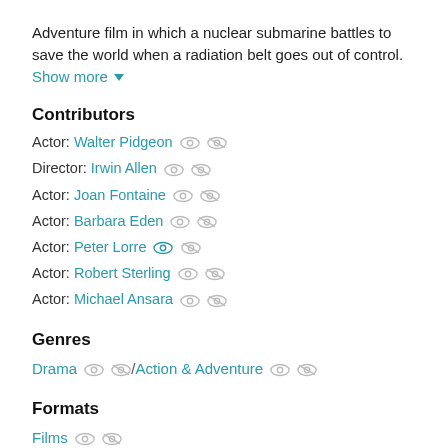Adventure film in which a nuclear submarine battles to save the world when a radiation belt goes out of control. Show more ▼
Contributors
Actor: Walter Pidgeon
Director: Irwin Allen
Actor: Joan Fontaine
Actor: Barbara Eden
Actor: Peter Lorre
Actor: Robert Sterling
Actor: Michael Ansara
Genres
Drama / Action & Adventure
Formats
Films